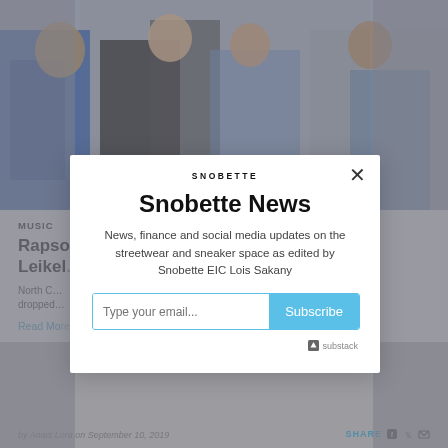[Figure (photo): Background photo of people in streetwear/sneaker fashion, partially visible behind a modal overlay. Left and right sides dimmed.]
MUSIC
Rapsody Leikeli...
North C... dropped...
Read More ...
by Anais Lora on September 10, 2019  SHARE
[Figure (screenshot): Snobette newsletter subscription modal with logo, title 'Snobette News', description text, email input field, Subscribe button, and Substack powered-by label.]
Snobette News
News, finance and social media updates on the streetwear and sneaker space as edited by Snobette EIC Lois Sakany
Type your email...
Subscribe
substack